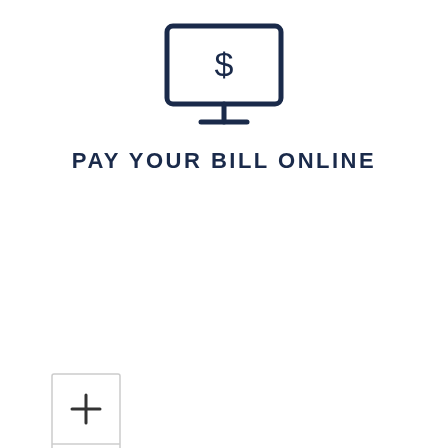[Figure (illustration): Icon of a computer monitor with a dollar sign on screen, outline style in dark navy blue]
PAY YOUR BILL ONLINE
[Figure (other): Map zoom controls: a box with + and - buttons stacked vertically, and a separate box with a fullscreen/expand icon]